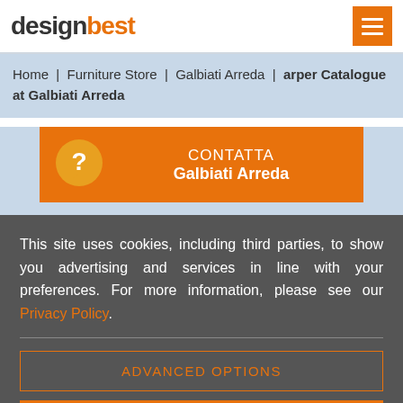designbest [logo] | menu button
Home | Furniture Store | Galbiati Arreda | arper Catalogue at Galbiati Arreda
[Figure (other): CONTATTA Galbiati Arreda contact card with orange background and question mark speech bubble icon]
This site uses cookies, including third parties, to show you advertising and services in line with your preferences. For more information, please see our Privacy Policy.
ADVANCED OPTIONS
ACCEPT ALL